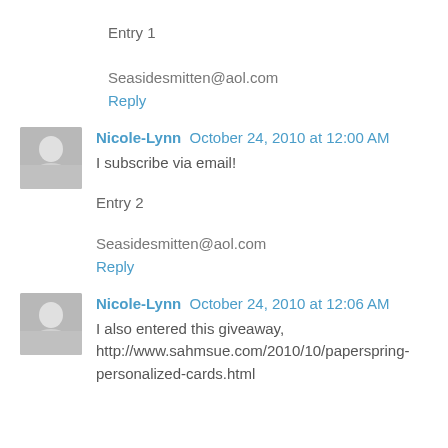Entry 1
Seasidesmitten@aol.com
Reply
Nicole-Lynn  October 24, 2010 at 12:00 AM
I subscribe via email!
Entry 2
Seasidesmitten@aol.com
Reply
Nicole-Lynn  October 24, 2010 at 12:06 AM
I also entered this giveaway, http://www.sahmsue.com/2010/10/paperspring-personalized-cards.html